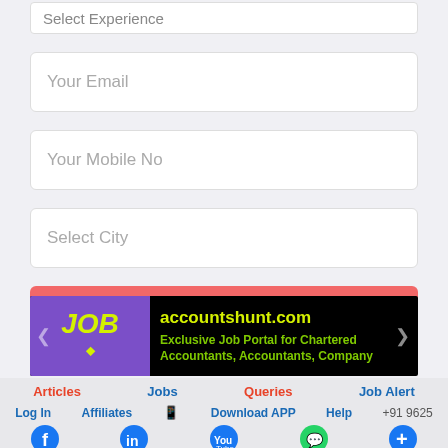Select Experience
Your Email
Your Mobile No
Select City
Create Alert
[Figure (screenshot): accountshunt.com banner - Exclusive Job Portal for Chartered Accountants, Accountants, Company]
Articles  Jobs  Queries  Job Alert  Log In  Affiliates  Download APP  Help  +91 9625